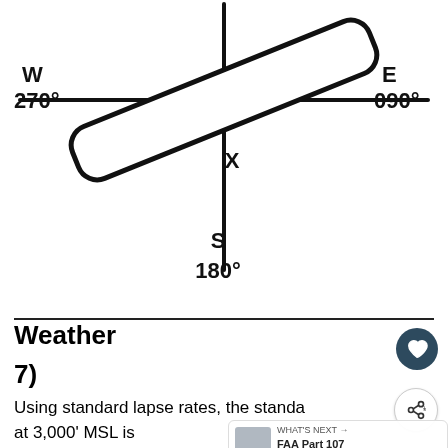[Figure (illustration): Hand-drawn compass rose diagram showing N at top, S at bottom with label '180°', W at left with label '270°', E at right with label '090°'. A runway shape (elongated rectangle) is drawn diagonally from lower-left to upper-right, crossing the center point labeled 'X'.]
Weather
7)
Using standard lapse rates, the standa at 3,000' MSL is
A) 29.62" Hg